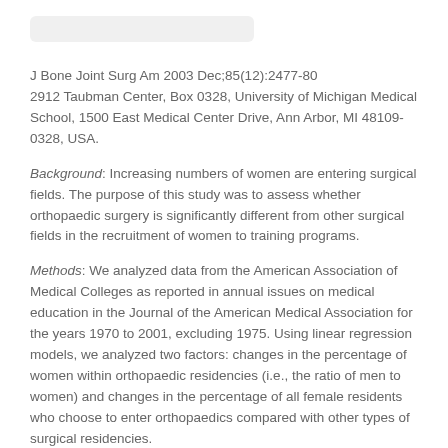J Bone Joint Surg Am 2003 Dec;85(12):2477-80
2912 Taubman Center, Box 0328, University of Michigan Medical School, 1500 East Medical Center Drive, Ann Arbor, MI 48109-0328, USA.
Background: Increasing numbers of women are entering surgical fields. The purpose of this study was to assess whether orthopaedic surgery is significantly different from other surgical fields in the recruitment of women to training programs.
Methods: We analyzed data from the American Association of Medical Colleges as reported in annual issues on medical education in the Journal of the American Medical Association for the years 1970 to 2001, excluding 1975. Using linear regression models, we analyzed two factors: changes in the percentage of women within orthopaedic residencies (i.e., the ratio of men to women) and changes in the percentage of all female residents who choose to enter orthopaedics compared with other types of surgical residencies.